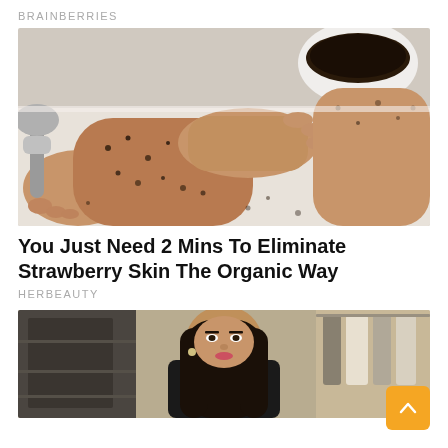BRAINBERRIES
[Figure (photo): A person applying a dark coffee/brown scrub to their legs while sitting in a bathtub, with a shower head visible in the background and a bowl of scrub material nearby.]
You Just Need 2 Mins To Eliminate Strawberry Skin The Organic Way
HERBEAUTY
[Figure (photo): A young woman with long dark hair standing in what appears to be a clothing store or closet area, with clothes racks visible in the background.]